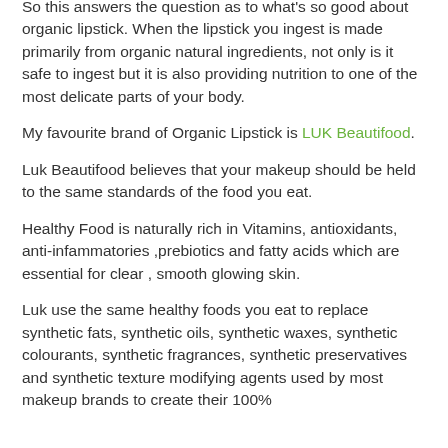So this answers the question as to what's so good about organic lipstick. When the lipstick you ingest is made primarily from organic natural ingredients, not only is it safe to ingest but it is also providing nutrition to one of the most delicate parts of your body.
My favourite brand of Organic Lipstick is LUK Beautifood.
Luk Beautifood believes that your makeup should be held to the same standards of the food you eat.
Healthy Food is naturally rich in Vitamins, antioxidants, anti-infammatories ,prebiotics and fatty acids which are essential for clear , smooth glowing skin.
Luk use the same healthy foods you eat to replace synthetic fats, synthetic oils, synthetic waxes, synthetic colourants, synthetic fragrances, synthetic preservatives and synthetic texture modifying agents used by most makeup brands to create their 100%...